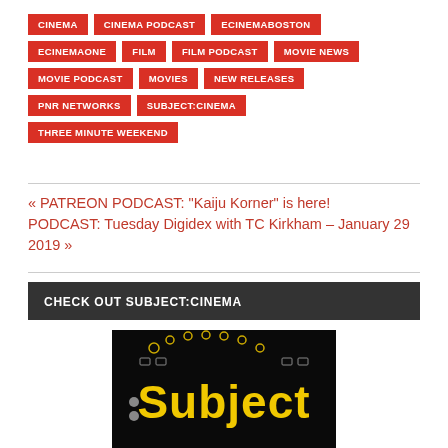CINEMA
CINEMA PODCAST
ECINEMABOSTON
ECINEMAONE
FILM
FILM PODCAST
MOVIE NEWS
MOVIE PODCAST
MOVIES
NEW RELEASES
PNR NETWORKS
SUBJECT:CINEMA
THREE MINUTE WEEKEND
« PATREON PODCAST: “Kaiju Korner” is here!
PODCAST: Tuesday Digidex with TC Kirkham – January 29 2019 »
CHECK OUT SUBJECT:CINEMA
[Figure (logo): Subject:Cinema logo on dark background showing stylized yellow text 'Subject' with film reel graphic]